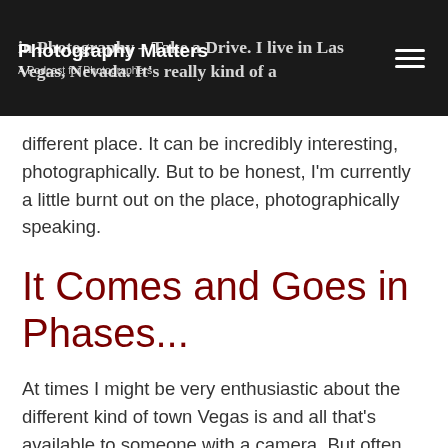Photography Matters
A Podcast for Photographers
in Photography – Take a Drive. I live in Las Vegas, Nevada. It's really kind of a different place. It can be incredibly interesting, photographically. But to be honest, I'm currently a little burnt out on the place, photographically speaking.
It Comes and Goes in Phases...
At times I might be very enthusiastic about the different kind of town Vegas is and all that's available to someone with a camera. But often these days I'm more inclined to be less inspired by the